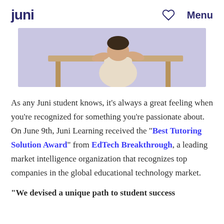juni  ♡  Menu
[Figure (photo): A person sitting at a wooden desk, viewed from behind, in a room with a lavender/purple background.]
As any Juni student knows, it's always a great feeling when you're recognized for something you're passionate about. On June 9th, Juni Learning received the "Best Tutoring Solution Award" from EdTech Breakthrough, a leading market intelligence organization that recognizes top companies in the global educational technology market.
"We devised a unique path to student success